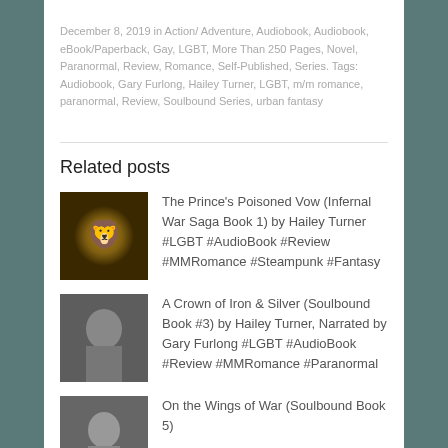December 8, 2019 in Action/ Adventure, Audiobook, Audiobook, eBook/Paperback, Gay, LGBT, More Than 250 Pages, Novel, Paranormal, Review, Romance, Self-Published, Series. Tags: Audiobook, Gary Furlong, Hailey Turner, LGBT, m/m romance, paranormal, Review, Soulbound Series, urban fantasy
Related posts
The Prince's Poisoned Vow (Infernal War Saga Book 1) by Hailey Turner #LGBT #AudioBook #Review #MMRomance #Steampunk #Fantasy
A Crown of Iron & Silver (Soulbound Book #3) by Hailey Turner, Narrated by Gary Furlong #LGBT #AudioBook #Review #MMRomance #Paranormal
On the Wings of War (Soulbound Book 5)